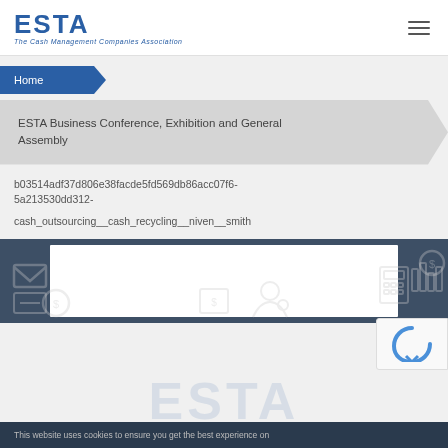ESTA - The Cash Management Companies Association
Home
ESTA Business Conference, Exhibition and General Assembly
b03514adf37d806e38facde5fd569db86acc07f6-5a213530dd312-cash_outsourcing__cash_recycling__niven__smith
This website uses cookies to ensure you get the best experience on